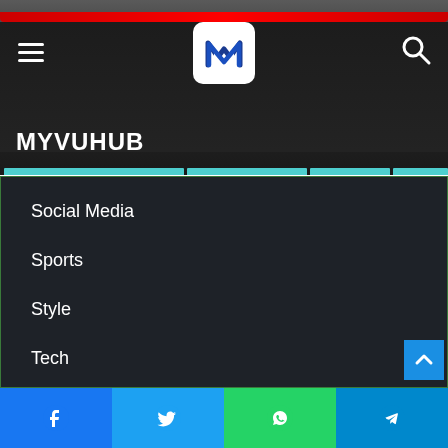[Figure (screenshot): MYVUHUB website header with logo, hamburger menu, and search icon on dark background with red stripe and cyan nav bar]
Social Media
Sports
Style
Tech
Technology
Tools
TOP X
Travel
Website
[Figure (screenshot): Social share bar with Facebook, Twitter, WhatsApp, and Telegram icons at bottom]